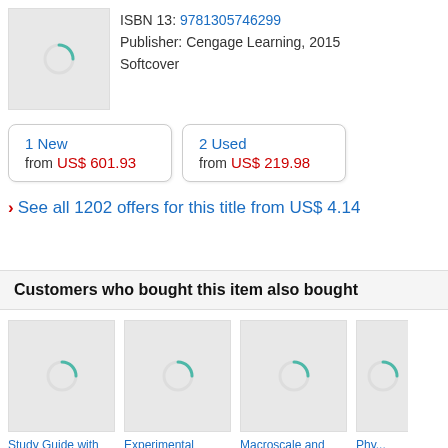[Figure (photo): Book cover placeholder with loading spinner on grey background]
ISBN 13: 9781305746299
Publisher: Cengage Learning, 2015
Softcover
1 New
from US$ 601.93
2 Used
from US$ 219.98
› See all 1202 offers for this title from US$ 4.14
Customers who bought this item also bought
[Figure (photo): Book cover placeholder with loading spinner]
Study Guide with Student Solutions Manual for McMurry's...
[Figure (photo): Book cover placeholder with loading spinner]
Experimental Organic Chemistry: A Miniscale & Microscale...
[Figure (photo): Book cover placeholder with loading spinner]
Macroscale and Microscale Organic Experiments
[Figure (photo): Partial book cover placeholder]
Phy... Ma... Exp...